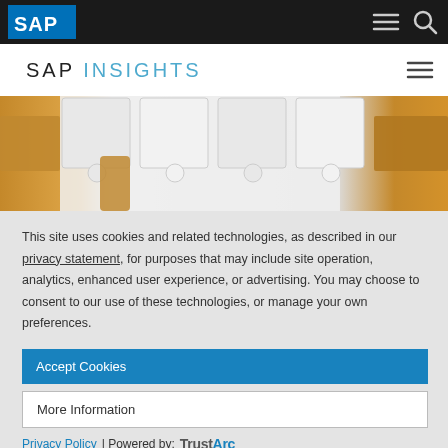SAP INSIGHTS
[Figure (photo): Close-up of wooden and white jigsaw puzzle pieces fitting together]
This site uses cookies and related technologies, as described in our privacy statement, for purposes that may include site operation, analytics, enhanced user experience, or advertising. You may choose to consent to our use of these technologies, or manage your own preferences.
Accept Cookies
More Information
Privacy Policy | Powered by: TrustArc